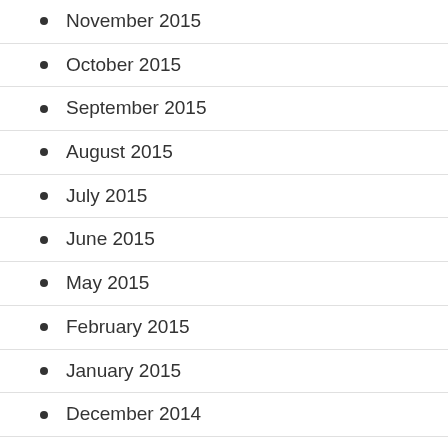November 2015
October 2015
September 2015
August 2015
July 2015
June 2015
May 2015
February 2015
January 2015
December 2014
November 2014
October 2014
September 2014
August 2014
January 2014